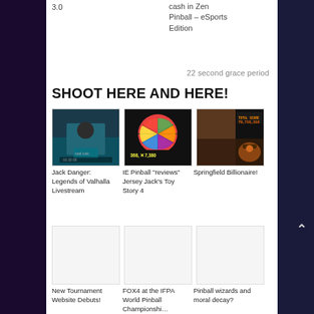3.0
cash in Zen Pinball – eSports Edition
22 second grace period
SHOOT HERE AND HERE!
[Figure (photo): Jack Danger at pinball machine with score display]
[Figure (photo): Colorful spinning wheel showing 368, x7,380]
[Figure (photo): Pinball score display showing 79,716,310 and player with hat]
Jack Danger: Legends of Valhalla Livestream
IE Pinball “reviews” Jersey Jack’s Toy Story 4
Springfield Billionaire!
[Figure (photo): Placeholder thumbnail - New Tournament Website]
[Figure (photo): Placeholder thumbnail - FOX4 IFPA World Pinball Championship]
[Figure (photo): Placeholder thumbnail - Pinball wizards and moral decay]
New Tournament Website Debuts!
FOX4 at the IFPA World Pinball Championshi…
Pinball wizards and moral decay?